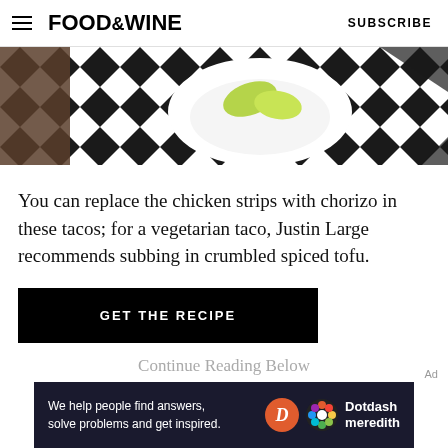FOOD&WINE  SUBSCRIBE
[Figure (photo): Top-down photo of a white bowl with lime wedges on a black and white patterned tile surface]
You can replace the chicken strips with chorizo in these tacos; for a vegetarian taco, Justin Large recommends subbing in crumbled spiced tofu.
GET THE RECIPE
Continue Reading Below
[Figure (other): Dotdash Meredith advertisement banner: 'We help people find answers, solve problems and get inspired.']